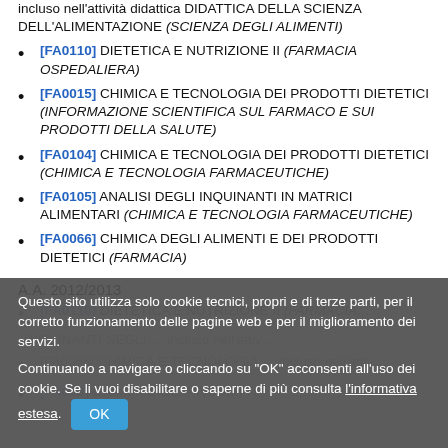incluso nell'attività didattica DIDATTICA DELLA SCIENZA DELL'ALIMENTAZIONE (SCIENZA DEGLI ALIMENTI)
[FA0110] DIETETICA E NUTRIZIONE II (FARMACIA OSPEDALIERA)
[FA0015] CHIMICA E TECNOLOGIA DEI PRODOTTI DIETETICI (INFORMAZIONE SCIENTIFICA SUL FARMACO E SUI PRODOTTI DELLA SALUTE)
[FA0104] CHIMICA E TECNOLOGIA DEI PRODOTTI DIETETICI (CHIMICA E TECNOLOGIA FARMACEUTICHE)
[FA0105] ANALISI DEGLI INQUINANTI IN MATRICI ALIMENTARI (CHIMICA E TECNOLOGIA FARMACEUTICHE)
[FA0066] CHIMICA DEGLI ALIMENTI E DEI PRODOTTI DIETETICI (FARMACIA)
A.A. 2012/2013
Questo sito utilizza solo cookie tecnici, propri e di terze parti, per il corretto funzionamento delle pagine web e per il miglioramento dei servizi. Continuando a navigare o cliccando su "OK" acconsenti all'uso dei cookie. Se li vuoi disabilitare o saperne di più consulta l'informativa estesa.